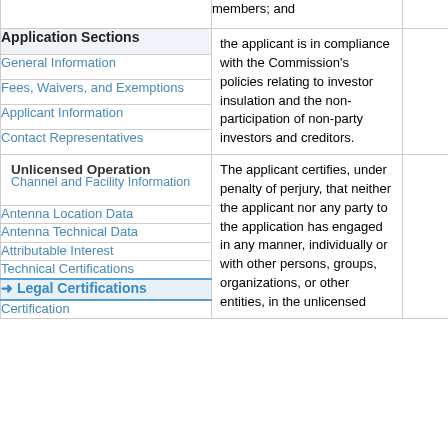| Application Sections |  |  |
| --- | --- | --- |
|  | members; and |  |
| Application Sections | the applicant is in compliance with the Commission's policies relating to investor insulation and the non-participation of non-party investors and creditors. |  |
| General Information |  |  |
| Fees, Waivers, and Exemptions |  |  |
| Applicant Information |  |  |
| Contact Representatives |  |  |
| Unlicensed Operation / Channel and Facility Information | The applicant certifies, under penalty of perjury, that neither the applicant nor any party to the application has engaged in any manner, individually or with other persons, groups, organizations, or other entities, in the unlicensed |  |
| Antenna Location Data |  |  |
| Antenna Technical Data |  |  |
| Attributable Interest |  |  |
| Technical Certifications |  |  |
| → Legal Certifications |  |  |
| Certification |  |  |